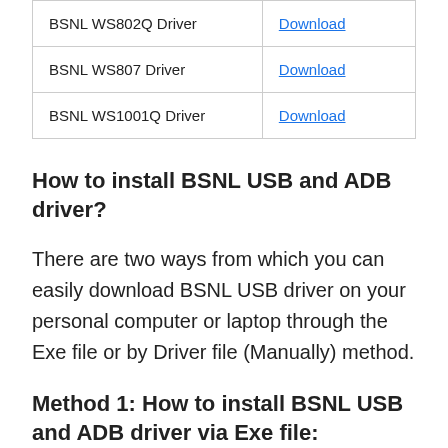|  |  |
| --- | --- |
| BSNL WS802Q Driver | Download |
| BSNL WS807 Driver | Download |
| BSNL WS1001Q Driver | Download |
How to install BSNL USB and ADB driver?
There are two ways from which you can easily download BSNL USB driver on your personal computer or laptop through the Exe file or by Driver file (Manually) method.
Method 1: How to install BSNL USB and ADB driver via Exe file: